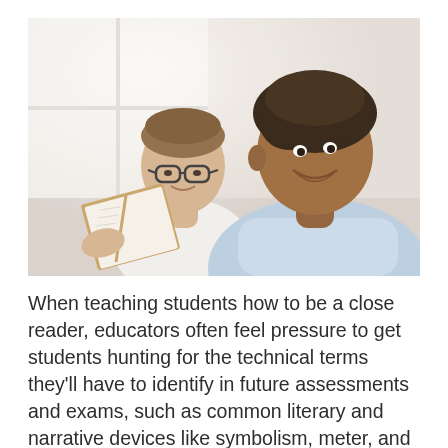[Figure (photo): Two young women (one with glasses, one with natural hair) sitting together smiling and looking at an open book, near a bright window. A warm, educational setting.]
When teaching students how to be a close reader, educators often feel pressure to get students hunting for the technical terms they'll have to identify in future assessments and exams, such as common literary and narrative devices like symbolism, meter, and denouement.